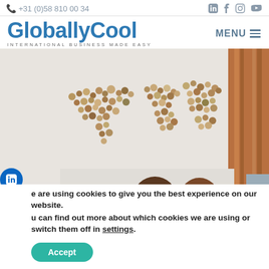+31 (0)58 810 00 34
GloballyCool — INTERNATIONAL BUSINESS MADE EASY
[Figure (photo): Two women taking a selfie in front of a world map made of wooden coins/buttons mounted on a wall, with decorative copper/wood vertical panels on the right side.]
We are using cookies to give you the best experience on our website.
You can find out more about which cookies we are using or switch them off in settings.
Accept